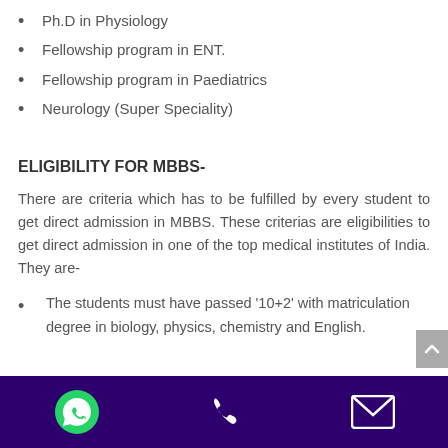Ph.D in Physiology
Fellowship program in ENT.
Fellowship program in Paediatrics
Neurology (Super Speciality)
ELIGIBILITY FOR MBBS-
There are criteria which has to be fulfilled by every student to get direct admission in MBBS. These criterias are eligibilities to get direct admission in one of the top medical institutes of India. They are-
The students must have passed '10+2' with matriculation degree in biology, physics, chemistry and English.
WhatsApp | Phone | Email